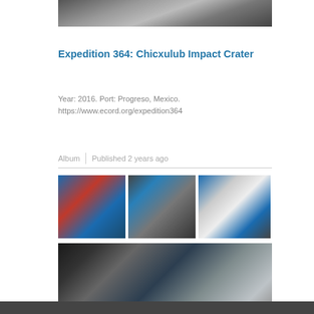[Figure (photo): Black and white image of rock or terrain surface at the top of the page]
Expedition 364: Chicxulub Impact Crater
Year: 2016. Port: Progreso, Mexico.
https://www.ecord.org/expedition364
Album | Published 2 years ago
[Figure (photo): Photo of a ship or drilling equipment at sea with a red structure and crane]
[Figure (photo): Photo of mechanical or drilling equipment with blue components]
[Figure (photo): Photo of a research vessel/ship at sea]
[Figure (photo): Wide photo of a researcher looking through a microscope in a lab setting]